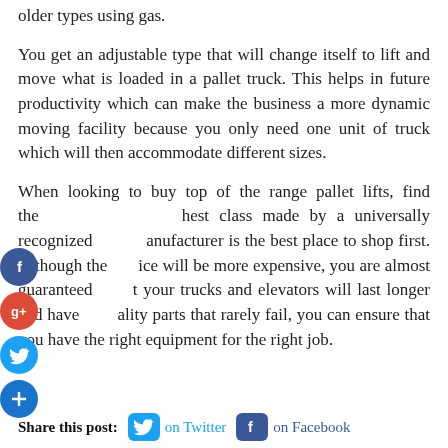older types using gas.
You get an adjustable type that will change itself to lift and move what is loaded in a pallet truck. This helps in future productivity which can make the business a more dynamic moving facility because you only need one unit of truck which will then accommodate different sizes.
When looking to buy top of the range pallet lifts, find the highest class made by a universally recognized manufacturer is the best place to shop first. Although the price will be more expensive, you are almost guaranteed that your trucks and elevators will last longer and have quality parts that rarely fail, you can ensure that you have the right equipment for the right job.
Share this post: on Twitter on Facebook